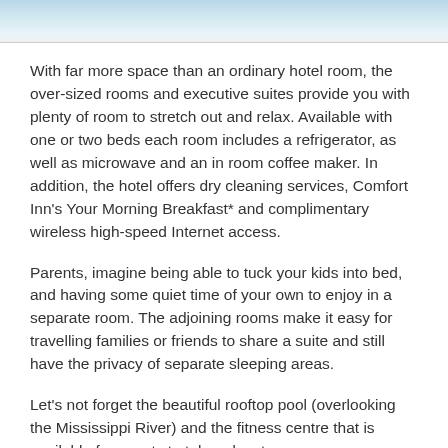[Figure (photo): Partial photo of a hotel room or interior, cropped at top of page showing light blue/white tones]
With far more space than an ordinary hotel room, the over-sized rooms and executive suites provide you with plenty of room to stretch out and relax. Available with one or two beds each room includes a refrigerator, as well as microwave and an in room coffee maker. In addition, the hotel offers dry cleaning services, Comfort Inn's Your Morning Breakfast* and complimentary wireless high-speed Internet access.
Parents, imagine being able to tuck your kids into bed, and having some quiet time of your own to enjoy in a separate room. The adjoining rooms make it easy for travelling families or friends to share a suite and still have the privacy of separate sleeping areas.
Let's not forget the beautiful rooftop pool (overlooking the Mississippi River) and the fitness centre that is available for guests to take advantage